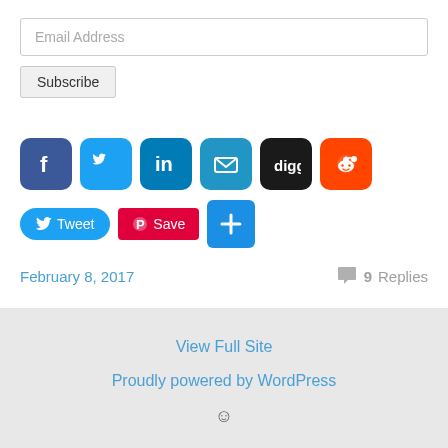Email Address
Subscribe
[Figure (infographic): Row of social media share icons: Facebook (blue), Twitter (blue), LinkedIn (teal), Email (blue), Digg (black), Reddit (orange). Below: Tweet button, Pinterest Save button, and a blue plus/share button.]
February 8, 2017
9 Replies
View Full Site
Proudly powered by WordPress
☺